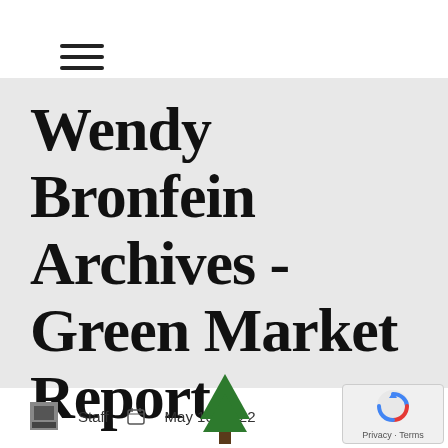≡ (hamburger menu icon)
Wendy Bronfein Archives - Green Market Report
Staff  May 10, 2022
[Figure (illustration): Green tree illustration at bottom center of page]
[Figure (other): reCAPTCHA widget overlay in bottom right showing Privacy - Terms]